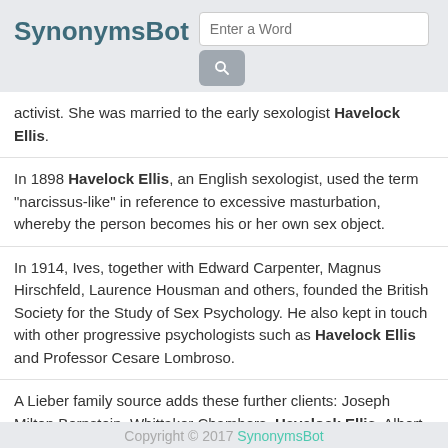SynonymsBot
activist. She was married to the early sexologist Havelock Ellis.
In 1898 Havelock Ellis, an English sexologist, used the term "narcissus-like" in reference to excessive masturbation, whereby the person becomes his or her own sex object.
In 1914, Ives, together with Edward Carpenter, Magnus Hirschfeld, Laurence Housman and others, founded the British Society for the Study of Sex Psychology. He also kept in touch with other progressive psychologists such as Havelock Ellis and Professor Cesare Lombroso.
A Lieber family source adds these further clients: Joseph Milton Bernstein, Whittaker Chambers, Havelock Ellis, Albert Malkin, Lewis Mumford, Arthur Simmons, and Richard Wright; and
Copyright © 2017 SynonymsBot